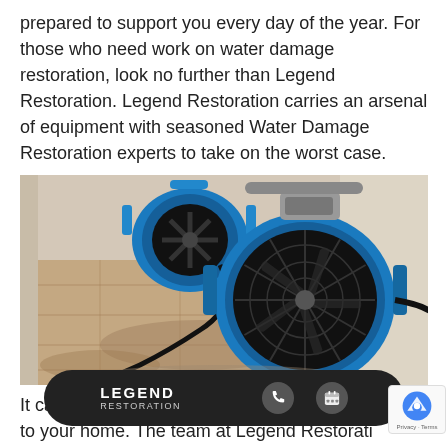prepared to support you every day of the year. For those who need work on water damage restoration, look no further than Legend Restoration. Legend Restoration carries an arsenal of equipment with seasoned Water Damage Restoration experts to take on the worst case.
[Figure (photo): Two blue industrial air mover / axial fan units placed on a water-damaged stone tile floor inside a building, with black power cords visible.]
It can be very frustrating if water damage happens to your home. The team at Legend Restoration knows this, and we look forward to helping resolve